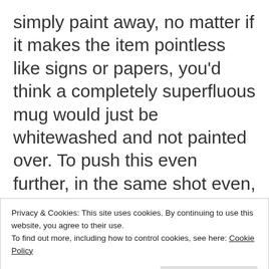simply paint away, no matter if it makes the item pointless like signs or papers, you'd think a completely superfluous mug would just be whitewashed and not painted over. To push this even further, in the same shot even, they completely paint away the letters 'cle' (clean?) from the toothpaste tube in said mug. I love doing these comparisons with 4Kids shows. It allows me to see what it's like to live in a
Privacy & Cookies: This site uses cookies. By continuing to use this website, you agree to their use.
To find out more, including how to control cookies, see here: Cookie Policy
Close and accept
[Figure (illustration): Bottom strip showing anime characters with green background]